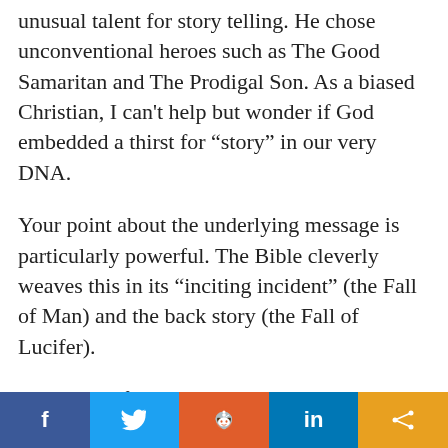unusual talent for story telling. He chose unconventional heroes such as The Good Samaritan and The Prodigal Son. As a biased Christian, I can’t help but wonder if God embedded a thirst for “story” in our very DNA.
Your point about the underlying message is particularly powerful. The Bible cleverly weaves this in its “inciting incident” (the Fall of Man) and the back story (the Fall of Lucifer).
The Book of Job is one I consider key to understanding the underlying message. Its a conflict between Power and Truth.
f  [twitter]  [reddit]  in  [share]